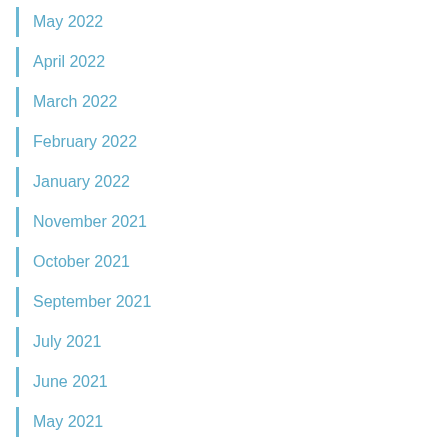May 2022
April 2022
March 2022
February 2022
January 2022
November 2021
October 2021
September 2021
July 2021
June 2021
May 2021